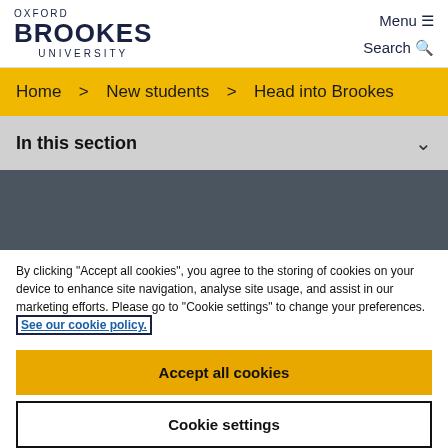OXFORD BROOKES UNIVERSITY | Menu ≡ Search 🔍
Home > New students > Head into Brookes
In this section
[Figure (photo): Dark grey/blue banner area, likely an image placeholder]
By clicking "Accept all cookies", you agree to the storing of cookies on your device to enhance site navigation, analyse site usage, and assist in our marketing efforts. Please go to "Cookie settings" to change your preferences. See our cookie policy.
Accept all cookies
Cookie settings